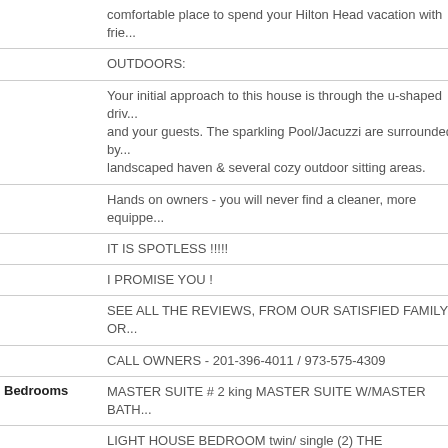comfortable place to spend your Hilton Head vacation with frie...
OUTDOORS:
Your initial approach to this house is through the u-shaped driv... and your guests. The sparkling Pool/Jacuzzi are surrounded by... landscaped haven & several cozy outdoor sitting areas.
Hands on owners - you will never find a cleaner, more equippe...
IT IS SPOTLESS !!!!!
I PROMISE YOU !
SEE ALL THE REVIEWS, FROM OUR SATISFIED FAMILY OR...
CALL OWNERS - 201-396-4011 / 973-575-4309
Bedrooms
MASTER SUITE # 2 king MASTER SUITE W/MASTER BATH...
LIGHT HOUSE BEDROOM twin/ single (2) THE LIGHTHOUSE... FULL BATH
MASTER SUITE #1 king MASTER SUITE #1 MASTER BATHR... PHOTO
SAILBOAT ROOM king · twin/ single (2) THE SAILBOAT ROO...
Den sleep sofa /futon PRIVATE DEN HAS A FULL SIZE SLEE...
King size beds - BRAND NEW - Two Master Bedroom Suites,... HD TV w/ cable, a large Master Bathroom with Jacuzzi Tub...